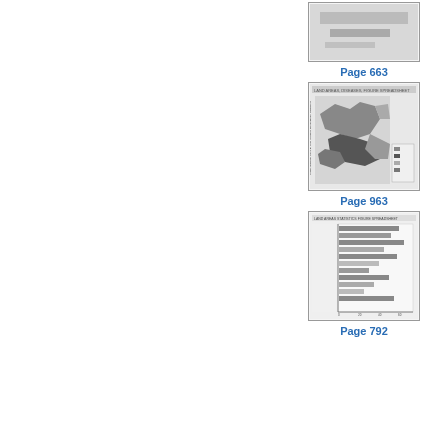[Figure (other): Thumbnail image of document page top portion, partially visible at top of page]
Page 663
[Figure (map): Thumbnail of a map page showing geographic regions with shading patterns, labels indicating disease or statistical data across regions]
Page 963
[Figure (bar-chart): Thumbnail of a horizontal bar chart page showing multiple categories with bars extending to the right, grayscale bars of varying lengths]
Page 792